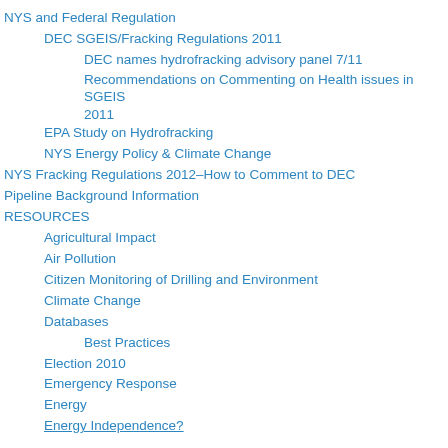NYS and Federal Regulation
DEC SGEIS/Fracking Regulations 2011
DEC names hydrofracking advisory panel 7/11
Recommendations on Commenting on Health issues in SGEIS 2011
EPA Study on Hydrofracking
NYS Energy Policy & Climate Change
NYS Fracking Regulations 2012–How to Comment to DEC
Pipeline Background Information
RESOURCES
Agricultural Impact
Air Pollution
Citizen Monitoring of Drilling and Environment
Climate Change
Databases
Best Practices
Election 2010
Emergency Response
Energy
Energy Independence?